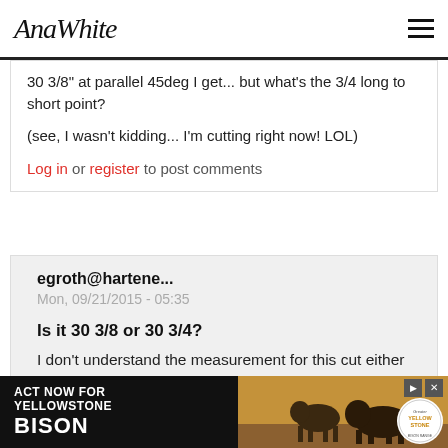AnaWhite
30 3/8" at parallel 45deg I get... but what's the 3/4 long to short point?
(see, I wasn't kidding... I'm cutting right now! LOL)
Log in or register to post comments
egroth@hartene...
Mon, 09/21/2015 - 05:35
Is it 30 3/8 or 30 3/4?
I don't understand the measurement for this cut either and am unable to see the previous response. Is it 30 3/8" or 30 3/4"?
[Figure (photo): Advertisement banner: Act Now for Yellowstone Bison, with bison photo and Yellowstone logo]